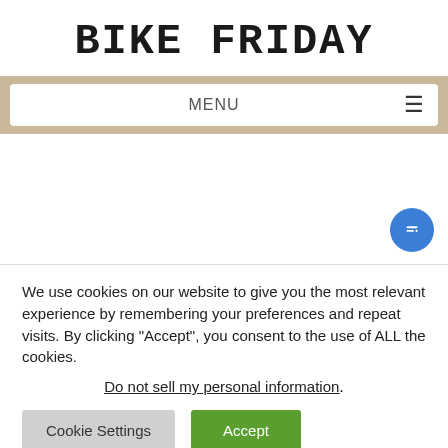BIKE FRIDAY
MENU
We use cookies on our website to give you the most relevant experience by remembering your preferences and repeat visits. By clicking “Accept”, you consent to the use of ALL the cookies.
Do not sell my personal information.
Cookie Settings | Accept